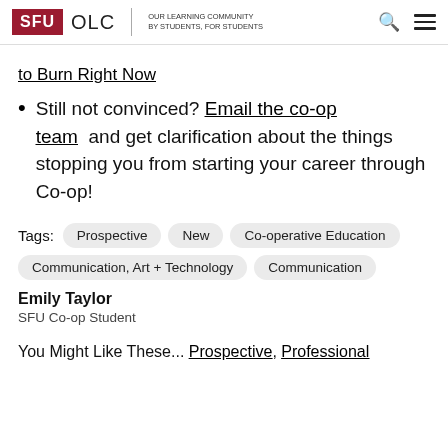SFU OLC | OUR LEARNING COMMUNITY BY STUDENTS, FOR STUDENTS
to Burn Right Now
Still not convinced? Email the co-op team and get clarification about the things stopping you from starting your career through Co-op!
Tags: Prospective  New  Co-operative Education  Communication, Art + Technology  Communication
Emily Taylor
SFU Co-op Student
You Might Like These... Prospective, Professional